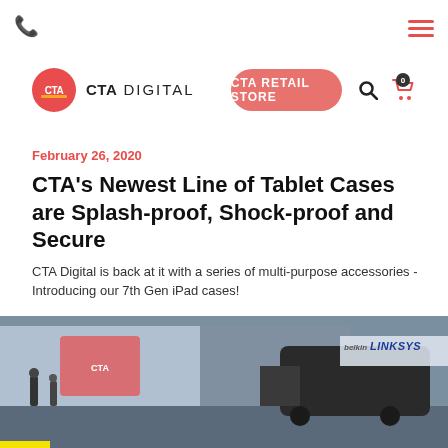CTA Digital navigation bar with phone icon, hamburger menu, logo, retail store button, search and cart
[Figure (logo): CTA Digital logo with red circle containing CTA letters and CTADIGITAL wordmark]
CTA RETAIL STORE
February 26, 2020
CTA's Newest Line of Tablet Cases are Splash-proof, Shock-proof and Secure
CTA Digital is back at it with a series of multi-purpose accessories - Introducing our 7th Gen iPad cases!
[Figure (photo): Trade show floor photo showing CTA Digital booth with a golf cart/vehicle, Belkin and Linksys banners visible in background, attendees walking around]